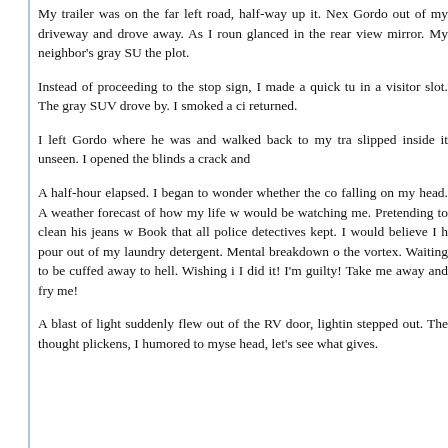My trailer was on the far left road, half-way up it. Nex Gordo out of my driveway and drove away. As I roun glanced in the rear view mirror. My neighbor's gray SU the plot.
Instead of proceeding to the stop sign, I made a quick tu in a visitor slot. The gray SUV drove by. I smoked a ci returned.
I left Gordo where he was and walked back to my tra slipped inside it unseen. I opened the blinds a crack and
A half-hour elapsed. I began to wonder whether the co falling on my head. A weather forecast of how my life w would be watching me. Pretending to clean his jeans w Book that all police detectives kept. I would believe I h pour out of my laundry detergent. Mental breakdown o the vortex. Waiting to be cuffed away to hell. Wishing i I did it! I'm guilty! Take me away and fry me!
A blast of light suddenly flew out of the RV door, lightin stepped out. The thought plickens, I humored to myse head, let's see what gives.